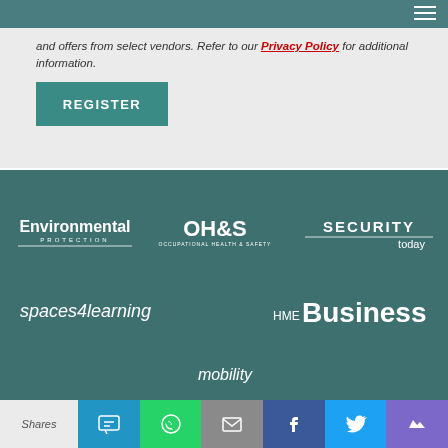and offers from select vendors. Refer to our Privacy Policy for additional information.
[Figure (logo): REGISTER button — teal rectangle with white bold uppercase text]
[Figure (logo): Environmental Protection magazine logo — white text on teal background]
[Figure (logo): OH&S Occupational Health & Safety magazine logo — white text on teal background]
[Figure (logo): Security Today magazine logo — white text on teal background]
[Figure (logo): spaces4learning logo — white italic text on teal background]
[Figure (logo): HME Business magazine logo — white text on teal background]
[Figure (logo): Partially visible mobility logo — white italic text on teal background]
Shares | SMS | WhatsApp | Email | Facebook | Twitter | Kingsumo